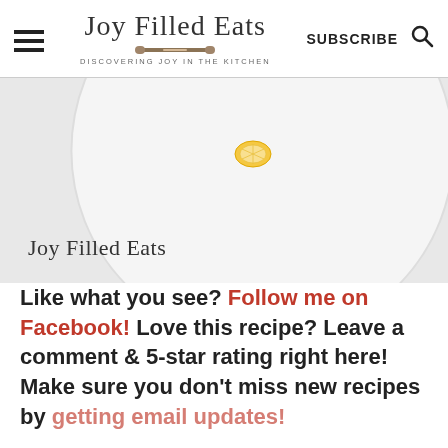Joy Filled Eats — DISCOVERING JOY IN THE KITCHEN — SUBSCRIBE
[Figure (photo): White plate with a lemon slice, partially cropped, with Joy Filled Eats script watermark in lower left]
Like what you see? Follow me on Facebook! Love this recipe? Leave a comment & 5-star rating right here! Make sure you don't miss new recipes by getting email updates!